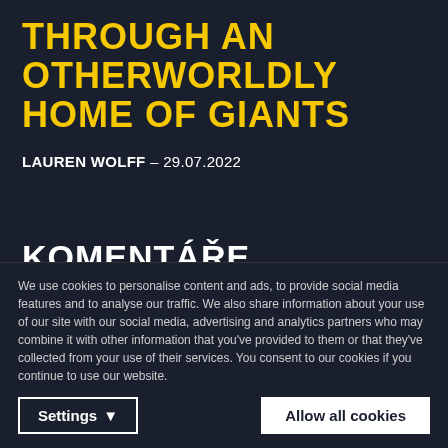THROUGH AN OTHERWORLDLY HOME OF GIANTS
LAUREN WOLFF – 29.07.2022
KOMENTÁŘE
Pro přidání komentáře musíte být nejprve přihlášen.
user_1011609 – 01.07.2022
We use cookies to personalise content and ads, to provide social media features and to analyse our traffic. We also share information about your use of our site with our social media, advertising and analytics partners who may combine it with other information that you've provided to them or that they've collected from your use of their services. You consent to our cookies if you continue to use our website.